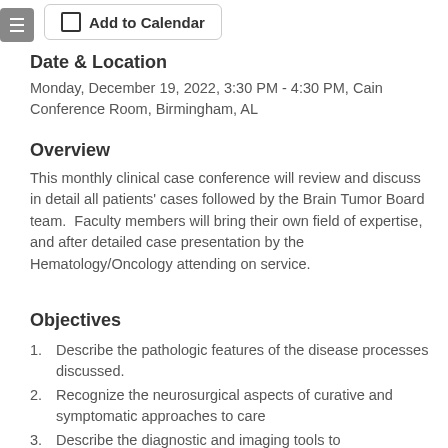Add to Calendar
Date & Location
Monday, December 19, 2022, 3:30 PM - 4:30 PM, Cain Conference Room, Birmingham, AL
Overview
This monthly clinical case conference will review and discuss in detail all patients' cases followed by the Brain Tumor Board team.  Faculty members will bring their own field of expertise, and after detailed case presentation by the Hematology/Oncology attending on service.
Objectives
Describe the pathologic features of the disease processes discussed.
Recognize the neurosurgical aspects of curative and symptomatic approaches to care
Describe the diagnostic and imaging tools to